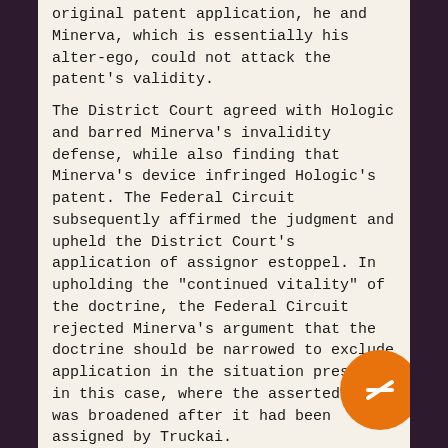original patent application, he and Minerva, which is essentially his alter-ego, could not attack the patent's validity.
The District Court agreed with Hologic and barred Minerva's invalidity defense, while also finding that Minerva's device infringed Hologic's patent. The Federal Circuit subsequently affirmed the judgment and upheld the District Court's application of assignor estoppel. In upholding the "continued vitality" of the doctrine, the Federal Circuit rejected Minerva's argument that the doctrine should be narrowed to exclude application in the situation presented in this case, where the asserted claim was broadened after it had been assigned by Truckai.
The Supreme Court's Decision
The Supreme Court subsequently granted Minerva's petition for certiorari. Although the Court upheld the doctrine's validity, the Court ruled that the Federal Circuit "failed to recognize the doctrine's proper li... That is, "[t]he doctrine applies only when an inven... says one thing (explicitly or implicitly) in assigning a